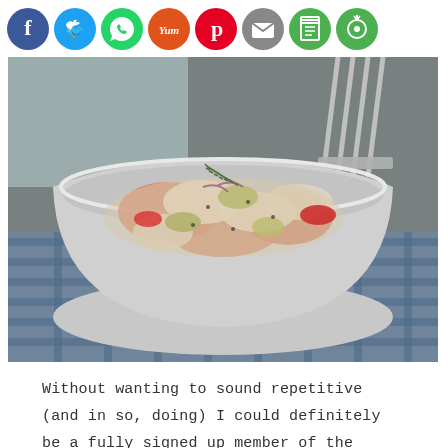[Figure (infographic): Row of 8 circular social media share buttons: Facebook (blue), Twitter (light blue), WhatsApp (green), Yummly (orange with 'Yum'), Pinterest (red), Email (grey), Print (green), More options (green)]
[Figure (photo): A white ceramic bowl filled with a creamy seafood and vegetable dish, garnished with rosemary, sitting on a blue and white checkered cloth. A fork is visible in the background.]
Without wanting to sound repetitive (and in so, doing) I could definitely be a fully signed up member of the